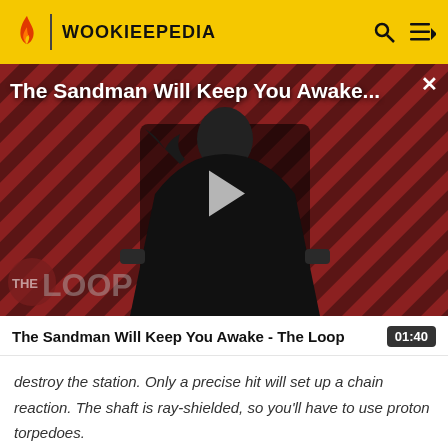WOOKIEEPEDIA
[Figure (screenshot): Video thumbnail showing a dark-robed figure with a raven against a red diagonal-striped background. Title overlay reads 'The Sandman Will Keep You Awake...' with a play button in the center and 'THE LOOP' watermark at bottom left.]
The Sandman Will Keep You Awake - The Loop
destroy the station. Only a precise hit will set up a chain reaction. The shaft is ray-shielded, so you'll have to use proton torpedoes.